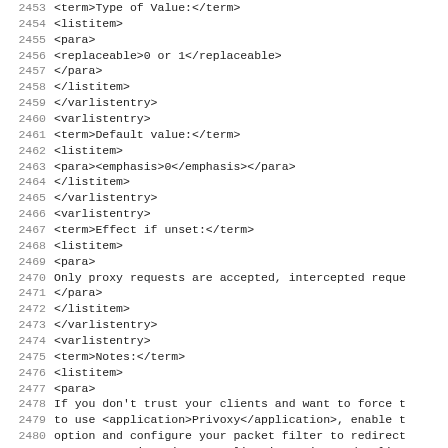Source code listing lines 2453-2485, XML markup for Privoxy configuration documentation
2453  <term>Type of Value:</term>
2454  <listitem>
2455   <para>
2456    <replaceable>0 or 1</replaceable>
2457   </para>
2458  </listitem>
2459 </varlistentry>
2460 <varlistentry>
2461  <term>Default value:</term>
2462  <listitem>
2463   <para><emphasis>0</emphasis></para>
2464  </listitem>
2465 </varlistentry>
2466 <varlistentry>
2467  <term>Effect if unset:</term>
2468  <listitem>
2469   <para>
2470    Only proxy requests are accepted, intercepted reque
2471   </para>
2472  </listitem>
2473 </varlistentry>
2474 <varlistentry>
2475  <term>Notes:</term>
2476  <listitem>
2477   <para>
2478    If you don't trust your clients and want to force t
2479    to use <application>Privoxy</application>, enable t
2480    option and configure your packet filter to redirect
2481    HTTP connections into <application>Privoxy</applica
2482   </para>
2483   <para>
2484    Note that intercepting encrypted connections (HTTPS
2485  ...